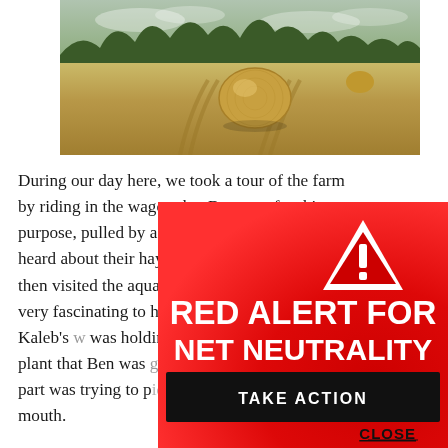[Figure (photo): Farm field with a large round hay bale in the center, tracks in the field, trees in the background, overcast sky]
During our day here, we took a tour of the farm by riding in the wagon that Ben uses for this purpose, pulled by a team of draft horses.  We heard about their hay growing operation, and then visited the aquaponics nursery area.  It was very fascinating to hear about and see in action.  Kaleb's [text obscured] was holding the caterpillars that [text obscured] dill plant that Ben was [text obscured] protected vs unprotected [text obscured] part was trying to p[text obscured] from the floor of th[text obscured] mouth.
[Figure (infographic): Red alert overlay with warning triangle icon, bold white text reading RED ALERT FOR NET NEUTRALITY, black TAKE ACTION button, and CLOSE link]